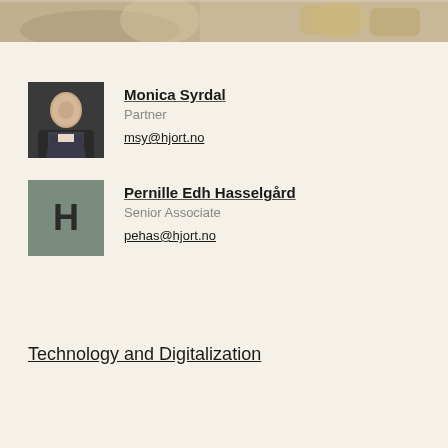[Figure (photo): Banner photo showing hands with pills and a small amber bottle on a wooden surface, partially cut off at top of page]
Monica Syrdal
Partner
msy@hjort.no
[Figure (logo): Grey square placeholder with H logo for Pernille Edh Hasselgård]
Pernille Edh Hasselgård
Senior Associate
pehas@hjort.no
Technology and Digitalization